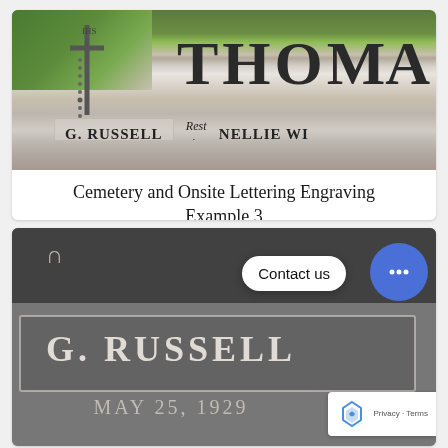[Figure (photo): Photograph of a gray granite gravestone showing partial text 'THOMA' at top right, cross with rosary on left, and inscription panel reading 'G. RUSSELL MAY 25, 1929' on left side, 'Rest in Peace' in center italic script, and 'NELLIE WI APR 17, 1...' on right side. Green grass visible at upper left, shoe visible at lower left.]
Cemetery and Onsite Lettering Engraving Example 3
[Figure (photo): Close-up photograph of the same gray granite gravestone showing 'G. RUSSELL' in large bold letters with a decorative border, and 'MAY 25, 1929' partially visible below. A 'Contact us' chat bubble overlay appears in upper right with a blue chat icon circle. A reCAPTCHA badge appears at lower right with Privacy and Terms links.]